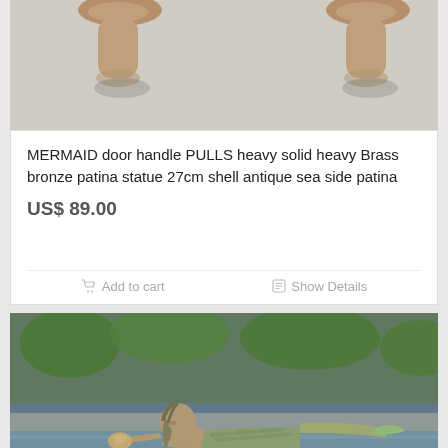[Figure (photo): Photo of two brass/bronze mushroom-shaped door handle pulls against a light background, showing the tops and stems with shadows]
MERMAID door handle PULLS heavy solid heavy Brass bronze patina statue 27cm shell antique sea side patina
US$ 89.00
Add to cart
Show Details
[Figure (photo): Photo of a brass/bronze mermaid figurine with green patina, lying horizontally, holding a shell, with a pool and greenery in the background]